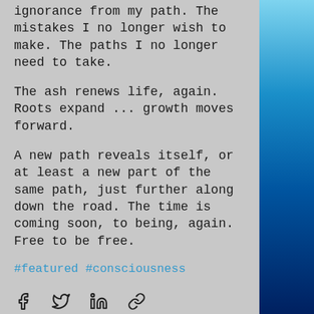ignorance from my path. The mistakes I no longer wish to make. The paths I no longer need to take.
The ash renews life, again. Roots expand ... growth moves forward.
A new path reveals itself, or at least a new part of the same path, just further along down the road. The time is coming soon, to being, again. Free to be free.
#featured #consciousness
[Figure (infographic): Social share icons: Facebook, Twitter, LinkedIn, link]
[Figure (infographic): View count icon showing 28, comment icon, and heart/like icon]